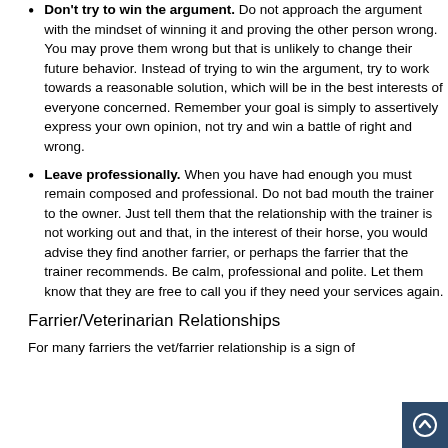Don't try to win the argument. Do not approach the argument with the mindset of winning it and proving the other person wrong. You may prove them wrong but that is unlikely to change their future behavior. Instead of trying to win the argument, try to work towards a reasonable solution, which will be in the best interests of everyone concerned. Remember your goal is simply to assertively express your own opinion, not try and win a battle of right and wrong.
Leave professionally. When you have had enough you must remain composed and professional. Do not bad mouth the trainer to the owner. Just tell them that the relationship with the trainer is not working out and that, in the interest of their horse, you would advise they find another farrier, or perhaps the farrier that the trainer recommends. Be calm, professional and polite. Let them know that they are free to call you if they need your services again.
Farrier/Veterinarian Relationships
For many farriers the vet/farrier relationship is a sign of